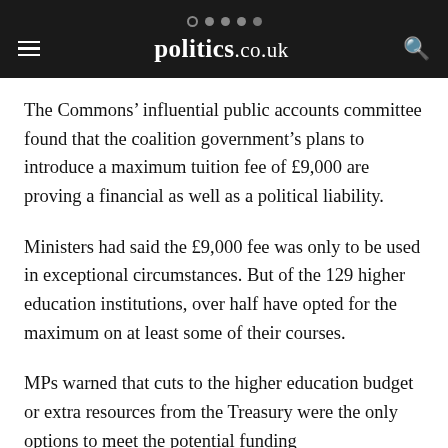politics.co.uk
The Commons’ influential public accounts committee found that the coalition government’s plans to introduce a maximum tuition fee of £9,000 are proving a financial as well as a political liability.
Ministers had said the £9,000 fee was only to be used in exceptional circumstances. But of the 129 higher education institutions, over half have opted for the maximum on at least some of their courses.
MPs warned that cuts to the higher education budget or extra resources from the Treasury were the only options to meet the potential funding...